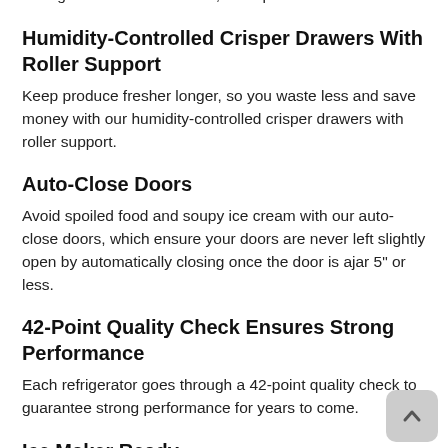width glass shelving in the freezer and refrigerator, a sliding half-width deli drawer, and spacious door bins.
Humidity-Controlled Crisper Drawers With Roller Support
Keep produce fresher longer, so you waste less and save money with our humidity-controlled crisper drawers with roller support.
Auto-Close Doors
Avoid spoiled food and soupy ice cream with our auto-close doors, which ensure your doors are never left slightly open by automatically closing once the door is ajar 5" or less.
42-Point Quality Check Ensures Strong Performance
Each refrigerator goes through a 42-point quality check to guarantee strong performance for years to come.
Ice Maker Ready
Enjoy the flexibility of later adding an ice maker without sacrificing valuable freezer space thanks to our optional slim ice maker.